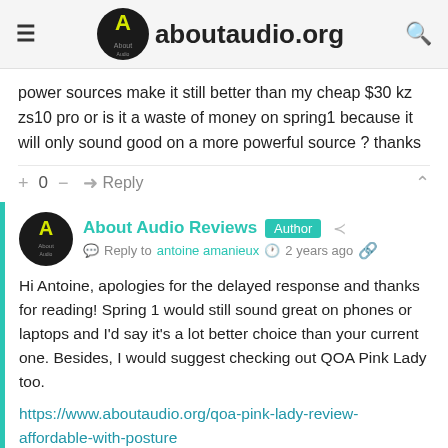aboutaudio.org
power sources make it still better than my cheap $30 kz zs10 pro or is it a waste of money on spring1 because it will only sound good on a more powerful source ? thanks
+ 0 — Reply
About Audio Reviews Author
Reply to antoine amanieux 2 years ago
Hi Antoine, apologies for the delayed response and thanks for reading! Spring 1 would still sound great on phones or laptops and I'd say it's a lot better choice than your current one. Besides, I would suggest checking out QOA Pink Lady too.
https://www.aboutaudio.org/qoa-pink-lady-review-affordable-with-posture